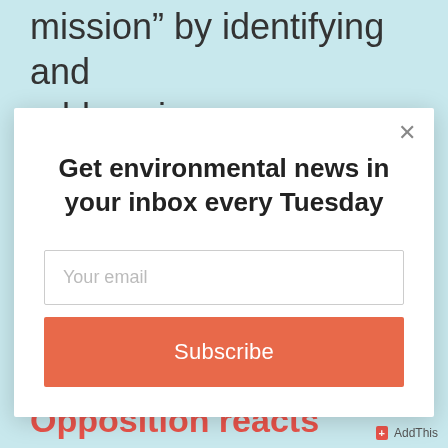mission" by identifying and addressing, as appropriate, disproportionately high adverse human health or environmental effects
[Figure (screenshot): Email newsletter subscription modal popup with title 'Get environmental news in your inbox every Tuesday', an email input field, and a salmon-colored Subscribe button]
Opposition reacts
+ AddThis